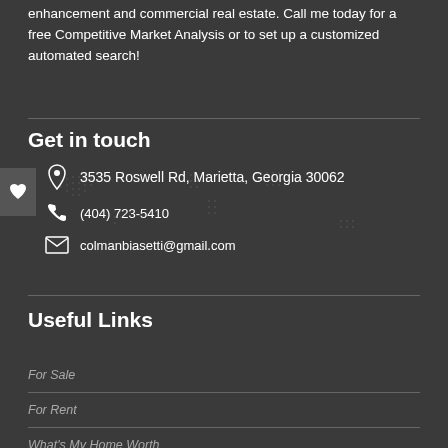enhancement and commercial real estate. Call me today for a free Competitive Market Analysis or to set up a customized automated search!
Get in touch
3535 Roswell Rd, Marietta, Georgia 30062
(404) 723-5410
colmanbiasetti@gmail.com
Useful Links
For Sale
For Rent
What's My Home Worth
Mortgage Calculator